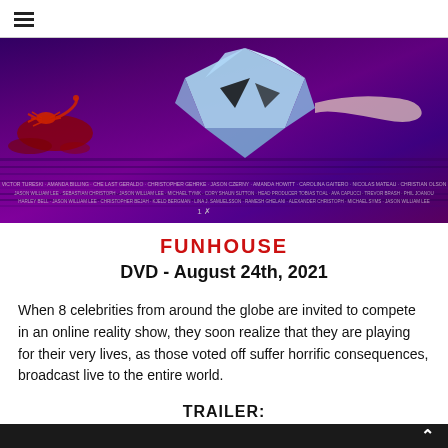≡ (hamburger menu icon)
[Figure (photo): Movie poster for Funhouse showing a dark purple/blue scene with a geometric crystalline skull-like shape, a scorpion on the left, and film credits text at the bottom.]
FUNHOUSE
DVD - August 24th, 2021
When 8 celebrities from around the globe are invited to compete in an online reality show, they soon realize that they are playing for their very lives, as those voted off suffer horrific consequences, broadcast live to the entire world.
TRAILER: